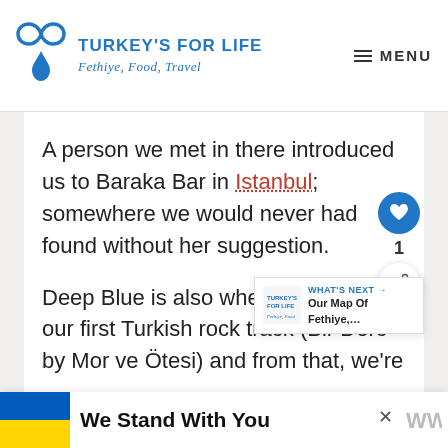TURKEY'S FOR LIFE — Fethiye, Food, Travel | MENU
A person we met in there introduced us to Baraka Bar in Istanbul; somewhere we would never had found without her suggestion.
Deep Blue is also where we heard our first Turkish rock track (Bir Derd by Mor ve Ötesi) and from that, we're
[Figure (other): What's Next overlay showing Turkey's For Life logo and text 'Our Map Of Fethiye,...']
We Stand With You